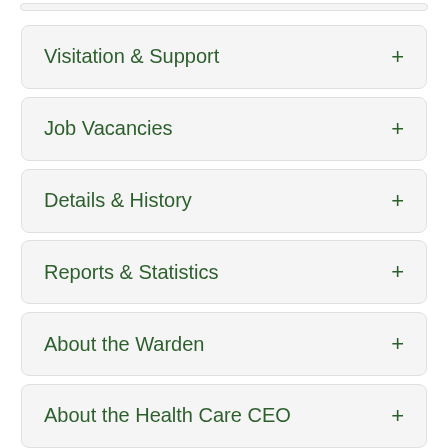Visitation & Support +
Job Vacancies +
Details & History +
Reports & Statistics +
About the Warden +
About the Health Care CEO +